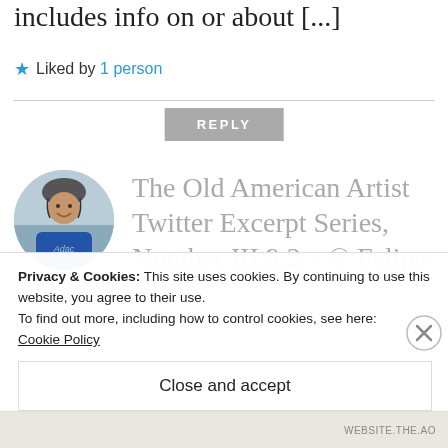includes info on or about [...]
★ Liked by 1 person
REPLY
[Figure (photo): Circular avatar photo of a person wearing a helmet and blue shirt outdoors near water]
The Old American Artist Twitter Excerpt Series, Number III.9.2 – © Felipe
Privacy & Cookies: This site uses cookies. By continuing to use this website, you agree to their use.
To find out more, including how to control cookies, see here:
Cookie Policy
Close and accept
WEBSITE.THE.AO